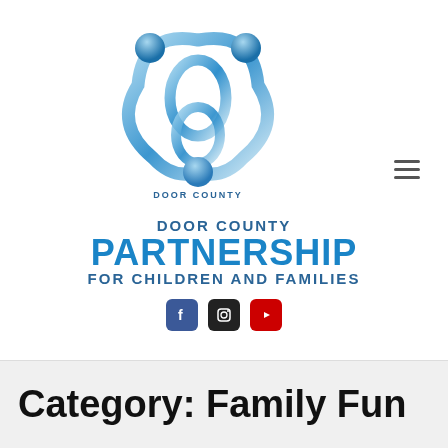[Figure (logo): Door County Partnership for Children and Families logo: three stylized figures arranged in a circle with interconnected loops, rendered in shades of blue. Below the graphic, text reads: DOOR COUNTY PARTNERSHIP FOR CHILDREN AND FAMILIES.]
[Figure (other): Hamburger menu icon (three horizontal lines) in gray, positioned in the upper right of the header.]
[Figure (other): Social media icons: Facebook (blue), Instagram (black), YouTube (red), arranged in a row.]
Category: Family Fun